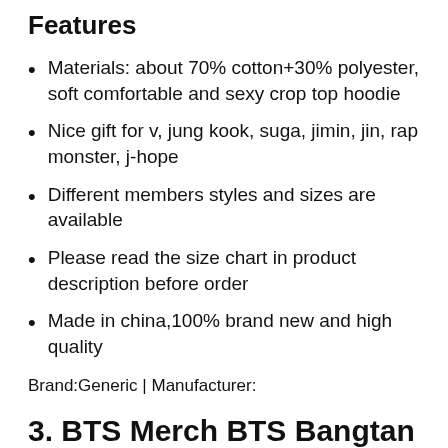Features
Materials: about 70% cotton+30% polyester, soft comfortable and sexy crop top hoodie
Nice gift for v, jung kook, suga, jimin, jin, rap monster, j-hope
Different members styles and sizes are available
Please read the size chart in product description before order
Made in china,100% brand new and high quality
Brand:Generic | Manufacturer:
3. BTS Merch BTS Bangtan Boys Gift Set For ARMY Fans 1 BTS Backpack 1 BTS Face Mask 7 BTS Bracelet 12 BTS